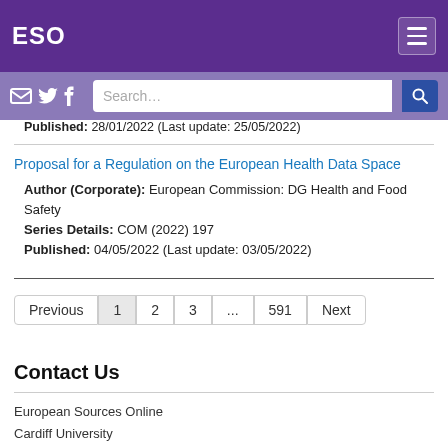ESO
Published: 28/01/2022 (Last update: 25/05/2022)
Proposal for a Regulation on the European Health Data Space
Author (Corporate): European Commission: DG Health and Food Safety
Series Details: COM (2022) 197
Published: 04/05/2022 (Last update: 03/05/2022)
Previous  1  2  3  ...  591  Next
Contact Us
European Sources Online
Cardiff University